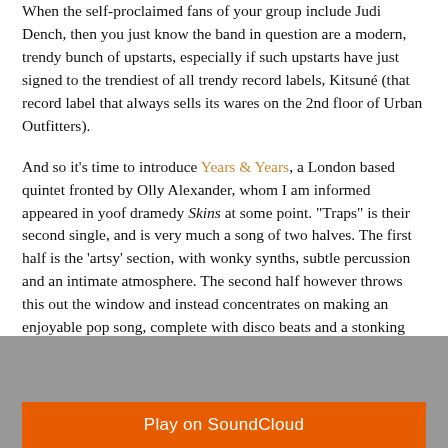When the self-proclaimed fans of your group include Judi Dench, then you just know the band in question are a modern, trendy bunch of upstarts, especially if such upstarts have just signed to the trendiest of all trendy record labels, Kitsuné (that record label that always sells its wares on the 2nd floor of Urban Outfitters).
And so it's time to introduce Years & Years, a London based quintet fronted by Olly Alexander, whom I am informed appeared in yoof dramedy Skins at some point. "Traps" is their second single, and is very much a song of two halves. The first half is the 'artsy' section, with wonky synths, subtle percussion and an intimate atmosphere. The second half however throws this out the window and instead concentrates on making an enjoyable pop song, complete with disco beats and a stonking bass line.
"Traps" will be released on September 9th.
[Figure (other): SoundCloud embedded player with orange Play on SoundCloud button on grey background]